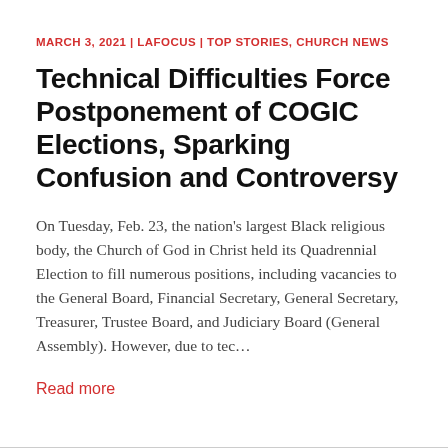MARCH 3, 2021 | LAFOCUS | TOP STORIES, CHURCH NEWS
Technical Difficulties Force Postponement of COGIC Elections, Sparking Confusion and Controversy
On Tuesday, Feb. 23, the nation’s largest Black religious body, the Church of God in Christ held its Quadrennial Election to fill numerous positions, including vacancies to the General Board, Financial Secretary, General Secretary, Treasurer, Trustee Board, and Judiciary Board (General Assembly). However, due to tec…
Read more